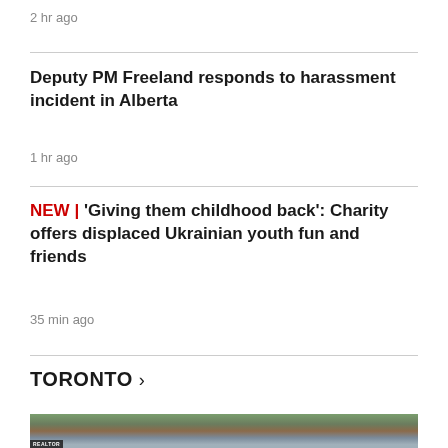2 hr ago
Deputy PM Freeland responds to harassment incident in Alberta
1 hr ago
NEW | 'Giving them childhood back': Charity offers displaced Ukrainian youth fun and friends
35 min ago
TORONTO >
[Figure (photo): Street-level photo of Toronto urban buildings with trees and a blue sky in the background; a REALTOR sign is visible in the bottom-left corner.]